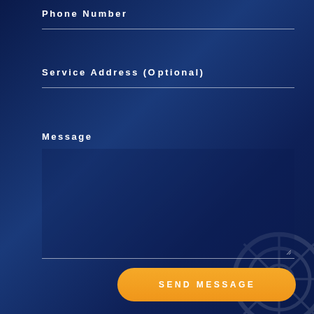Phone Number
Service Address (Optional)
Message
SEND MESSAGE
Shop
308 105th AVE NE Suite A